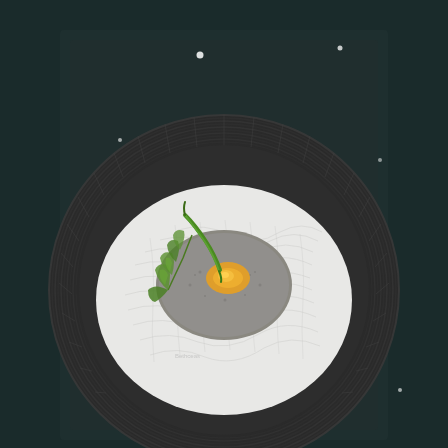[Figure (photo): Overhead food photography on a dark teal/black background. A dark gray ribbed ceramic plate holds a nest of white steamed string hoppers (idiyappam/rice noodles) with a central portion topped with grayish-brown coconut chutney or spice powder and a yellow-orange ghee/butter garnish in the center. A green chili and fresh coriander/cilantro leaves are placed on the left side of the food. Small white salt or sesame seed specks are scattered on the dark background cloth. A small watermark text is visible near the bottom left of the food.]